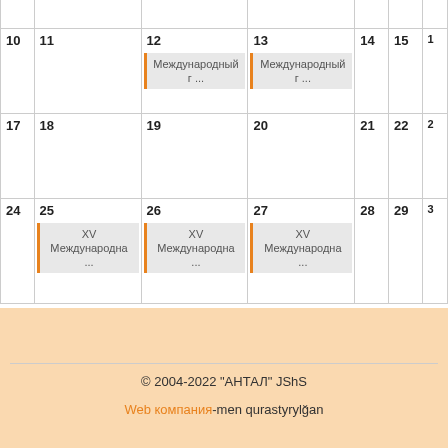| 10 | 11 | 12 | 13 | 14 | 15 | ... |
| --- | --- | --- | --- | --- | --- | --- |
|  |  | Международный г ... | Международный г ... |  |  |  |
| 17 | 18 | 19 | 20 | 21 | 22 | ... |
|  |  |  |  |  |  |  |
| 24 | 25 | 26 | 27 | 28 | 29 | ... |
|  | XV Международна ... | XV Международна ... | XV Международна ... |  |  |  |
© 2004-2022 "АНТАЛ" JShS
Web компания-men qurastyrylğan